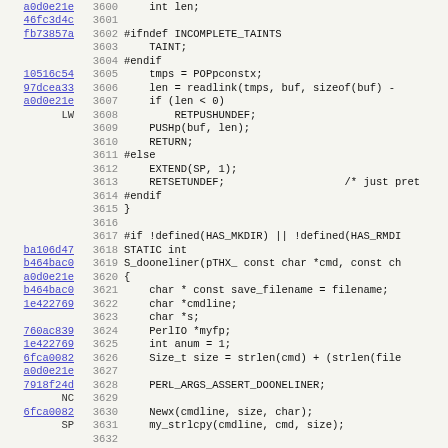[Figure (screenshot): Source code viewer showing C/Perl code lines 3600-3631 with git blame hash annotations (blue hyperlinks) in left column, line numbers in middle column, and code in right column. Background alternates between light gray rows.]